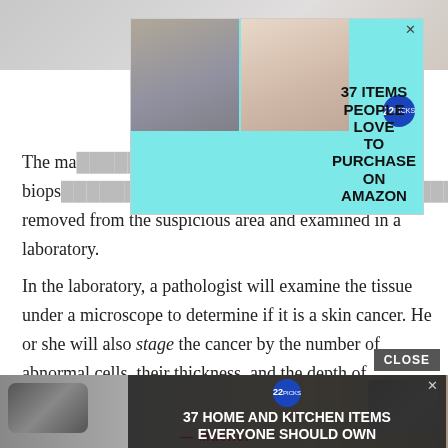[Figure (screenshot): Top portion of a medical webpage with ad overlays. Top image strip shows partial photo of person. First ad (teal/cyan background) overlays with two product images and text '37 ITEMS PEOPLE LOVE TO PURCHASE ON AMAZON'. Second ad (dark background) overlays bottom area with text '37 HOME AND KITCHEN ITEMS EVERYONE SHOULD OWN'. Background text describes biopsy and pathology process for skin cancer diagnosis.]
The ma... s with a biops... removed from the suspicious area and examined in a laboratory.
In the laboratory, a pathologist will examine the tissue under a microscope to determine if it is a skin cancer. He or she will also stage the cancer by the number of abnormal cells, their thickness, and the depth of penetration into the skin. The higher the stage of the tumor, the greater the chance it could spread to other parts of the body.
Squam... in usually... cinoma of the... ontact